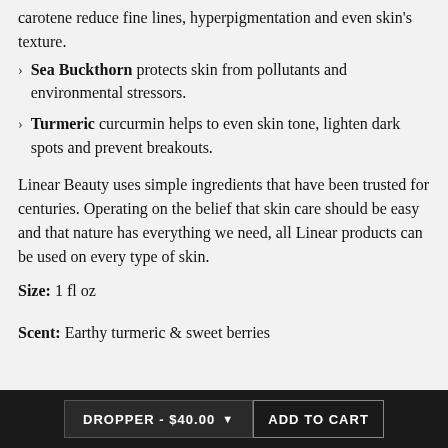carotene reduce fine lines, hyperpigmentation and even skin's texture.
Sea Buckthorn protects skin from pollutants and environmental stressors.
Turmeric curcurmin helps to even skin tone, lighten dark spots and prevent breakouts.
Linear Beauty uses simple ingredients that have been trusted for centuries. Operating on the belief that skin care should be easy and that nature has everything we need, all Linear products can be used on every type of skin.
Size: 1 fl oz
Scent: Earthy turmeric & sweet berries
DROPPER - $40.00   ADD TO CART